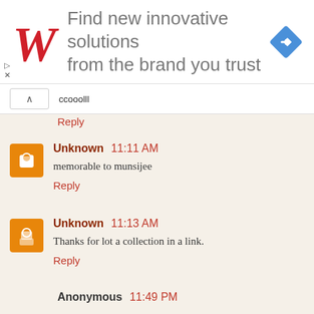[Figure (infographic): Walgreens advertisement banner: Walgreens logo (red cursive W) on left, text 'Find new innovative solutions from the brand you trust' in center, blue diamond navigation icon on right]
ccooolll
Reply
Unknown 11:11 AM
memorable to munsijee
Reply
Unknown 11:13 AM
Thanks for lot a collection in a link.
Reply
Anonymous 11:49 PM